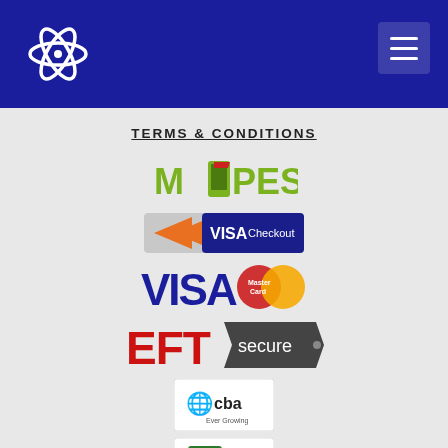Navigation header with logo and menu button
TERMS & CONDITIONS
[Figure (logo): M-PESA logo with green text and phone icon]
[Figure (logo): VISA Checkout logo — blue badge with orange arrow and VISA Checkout text]
[Figure (logo): VISA MasterCard logo — blue VISA text with red/orange MasterCard overlapping circles]
[Figure (logo): EFT Secure logo — red EFT text with dark arrow-badge shape and 'secure' text]
[Figure (logo): CBA Bank logo in white card with tree/globe icon and 'cba' text]
[Figure (logo): Co-op Bank logo in white card with green square icon]